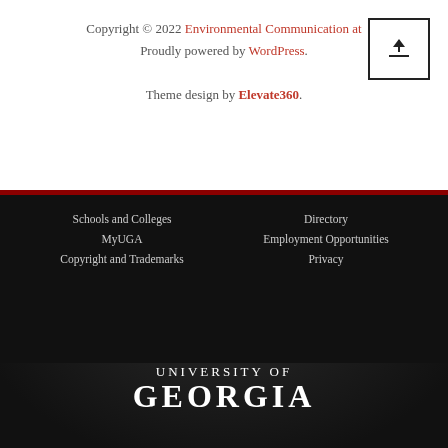Copyright © 2022 Environmental Communication at Proudly powered by WordPress.
Theme design by Elevate360.
[Figure (logo): University of Georgia seal/logo with arch and 1785]
Schools and Colleges | Directory | MyUGA | Employment Opportunities | Copyright and Trademarks | Privacy